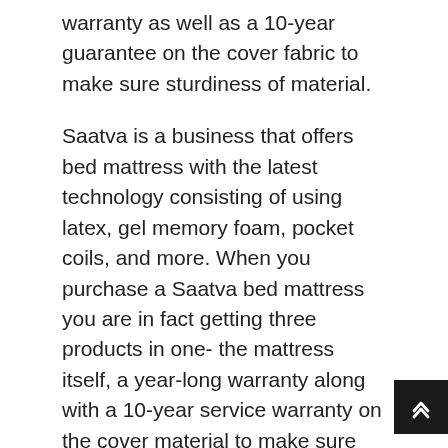warranty as well as a 10-year guarantee on the cover fabric to make sure sturdiness of material.
Saatva is a business that offers bed mattress with the latest technology consisting of using latex, gel memory foam, pocket coils, and more. When you purchase a Saatva bed mattress you are in fact getting three products in one- the mattress itself, a year-long warranty along with a 10-year service warranty on the cover material to make sure sturdiness of material.
Saatva is a company that builds quality bed mattress. They use coils to provide assistance and layers of foam to provide comfort. This mix leads to a mattress that is both helpful and comfy.
One of the benefits of Saatva bed mattress is that they are built to last. The coils used in their bed